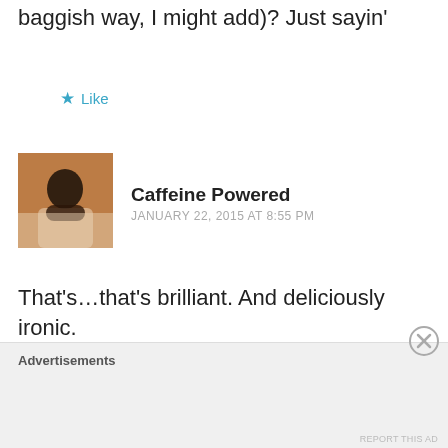baggish way, I might add)? Just sayin'
★ Like
[Figure (photo): Avatar photo of Caffeine Powered commenter — dark silhouette against orange-toned background]
Caffeine Powered
JANUARY 22, 2015 AT 8:55 PM
That's…that's brilliant. And deliciously ironic.
★ Like
[Figure (logo): Blue square avatar with white power button icon — HighWireNickEsasky user avatar]
HighWireNickEsasky
JANUARY 22, 2015 AT 8:05 PM
Advertisements
REPORT THIS AD